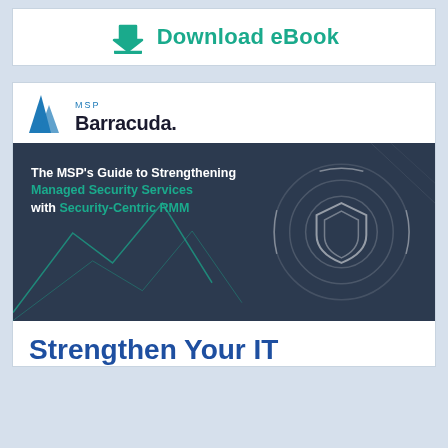[Figure (infographic): Download eBook button with teal download arrow icon and bold teal text 'Download eBook']
[Figure (infographic): Barracuda MSP eBook cover card. Contains Barracuda MSP logo, a dark navy eBook cover image titled 'The MSP's Guide to Strengthening Managed Security Services with Security-Centric RMM' with shield graphic, and the beginning of a heading 'Strengthen Your IT']
Strengthen Your IT